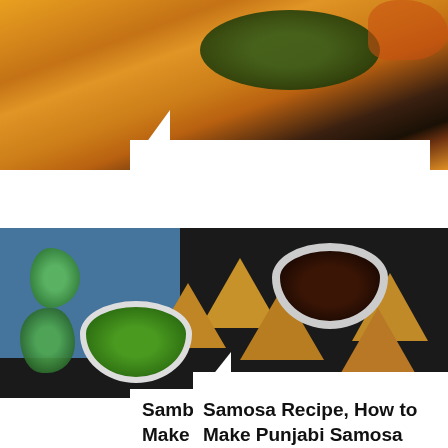[Figure (photo): Photo of sambar dish - orange curry with green herbs and spices on top]
Sambar Recipe, How to Make Sambar
[Figure (photo): Photo of samosas arranged on dark surface with bowls of green chutney and dark tamarind sauce, with mint leaves on blue napkin]
Samosa Recipe, How to Make Punjabi Samosa